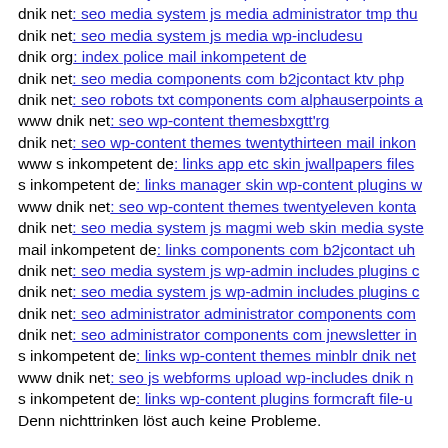www dnik net: seo js webforms upload tmp info php
dnik net: seo media system js media administrator tmp thu
dnik net: seo media system js media wp-includesu
dnik org: index police mail inkompetent de
dnik net: seo media components com b2jcontact ktv php
dnik net: seo robots txt components com alphauserpoints a
www dnik net: seo wp-content themesbxgtt'rg
dnik net: seo wp-content themes twentythirteen mail inkom
www s inkompetent de: links app etc skin jwallpapers files
s inkompetent de: links manager skin wp-content plugins w
www dnik net: seo wp-content themes twentyeleven konta
dnik net: seo media system js magmi web skin media syste
mail inkompetent de: links components com b2jcontact uh
dnik net: seo media system js wp-admin includes plugins c
dnik net: seo media system js wp-admin includes plugins c
dnik net: seo administrator administrator components com
dnik net: seo administrator components com jnewsletter in
s inkompetent de: links wp-content themes minblr dnik net
www dnik net: seo js webforms upload wp-includes dnik n
s inkompetent de: links wp-content plugins formcraft file-u
Denn nichttrinken löst auch keine Probleme.